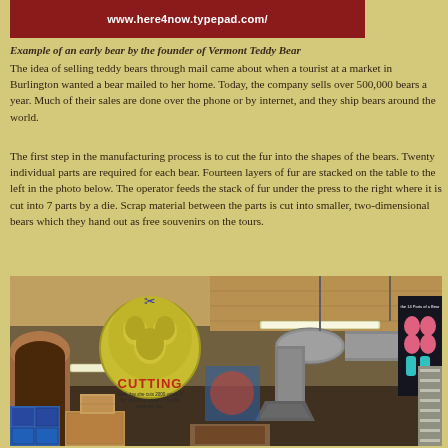[Figure (photo): Red banner/header image with text: www.here4now.typepad.com/]
Example of an early bear by the founder of Vermont Teddy Bear
The idea of selling teddy bears through mail came about when a tourist at a market in Burlington wanted a bear mailed to her home. Today, the company sells over 500,000 bears a year. Much of their sales are done over the phone or by internet, and they ship bears around the world.
The first step in the manufacturing process is to cut the fur into the shapes of the bears. Twenty individual parts are required for each bear. Fourteen layers of fur are stacked on the table to the left in the photo below. The operator feeds the stack of fur under the press to the right where it is cut into 7 parts by a die. Scrap material between the parts is cut into smaller, two-dimensional bears which they hand out as free souvenirs on the tours.
[Figure (photo): Photo of the Vermont Teddy Bear factory cutting room, showing a large circular yellow sign with 'CUTTING' in red letters, industrial ductwork on the ceiling, fluorescent lighting, a bear parts poster on the right side, and blue storage bins on the left.]